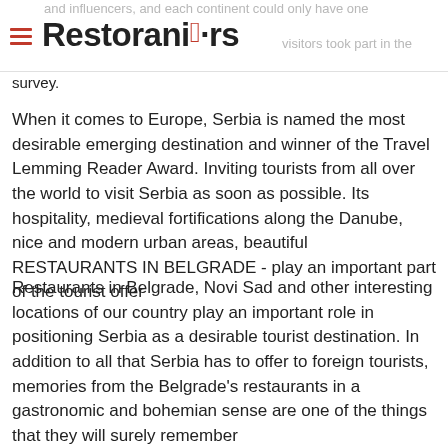Restorani·rs
and influencers, and each continent could only have one visitors took part in the survey.
When it comes to Europe, Serbia is named the most desirable emerging destination and winner of the Travel Lemming Reader Award. Inviting tourists from all over the world to visit Serbia as soon as possible. Its hospitality, medieval fortifications along the Danube, nice and modern urban areas, beautiful RESTAURANTS IN BELGRADE - play an important part of the tourist offer
Restaurants in Belgrade, Novi Sad and other interesting locations of our country play an important role in positioning Serbia as a desirable tourist destination. In addition to all that Serbia has to offer to foreign tourists, memories from the Belgrade's restaurants in a gastronomic and bohemian sense are one of the things that they will surely remember